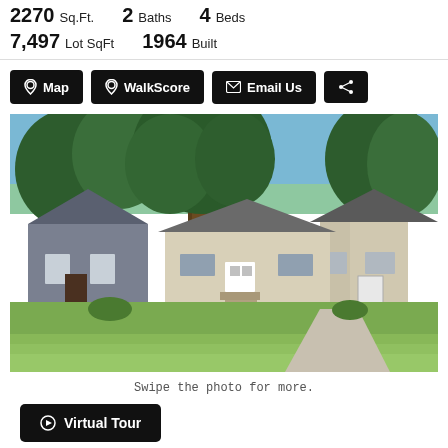2270 Sq.Ft.   2 Baths   4 Beds
7,497 Lot SqFt   1964 Built
Map
WalkScore
Email Us
Share
[Figure (photo): Exterior photo of a single-family home with large trees in front, green lawn, neighboring houses visible on both sides.]
Swipe the photo for more.
Virtual Tour